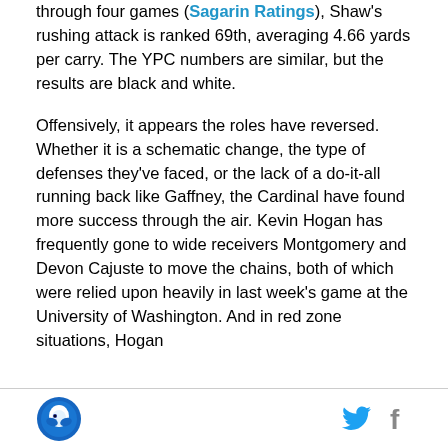through four games (Sagarin Ratings), Shaw's rushing attack is ranked 69th, averaging 4.66 yards per carry. The YPC numbers are similar, but the results are black and white.
Offensively, it appears the roles have reversed. Whether it is a schematic change, the type of defenses they've faced, or the lack of a do-it-all running back like Gaffney, the Cardinal have found more success through the air. Kevin Hogan has frequently gone to wide receivers Montgomery and Devon Cajuste to move the chains, both of which were relied upon heavily in last week's game at the University of Washington. And in red zone situations, Hogan
[logo] [twitter] [facebook]